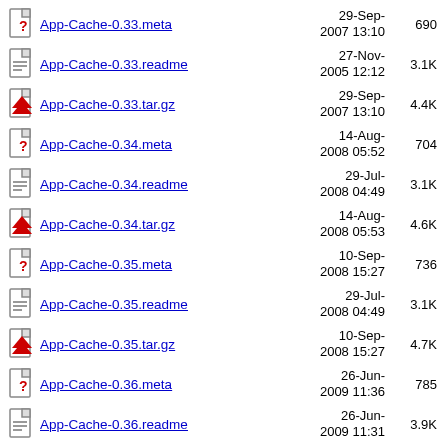App-Cache-0.33.meta  29-Sep-2007 13:10  690
App-Cache-0.33.readme  27-Nov-2005 12:12  3.1K
App-Cache-0.33.tar.gz  29-Sep-2007 13:10  4.4K
App-Cache-0.34.meta  14-Aug-2008 05:52  704
App-Cache-0.34.readme  29-Jul-2008 04:49  3.1K
App-Cache-0.34.tar.gz  14-Aug-2008 05:53  4.6K
App-Cache-0.35.meta  10-Sep-2008 15:27  736
App-Cache-0.35.readme  29-Jul-2008 04:49  3.1K
App-Cache-0.35.tar.gz  10-Sep-2008 15:27  4.7K
App-Cache-0.36.meta  26-Jun-2009 11:36  785
App-Cache-0.36.readme  26-Jun-2009 11:31  3.9K